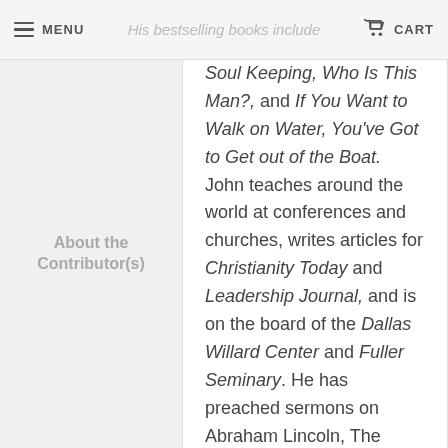MENU | His bestselling books include | CART
About the Contributor(s)
Soul Keeping, Who Is This Man?, and If You Want to Walk on Water, You've Got to Get out of the Boat. John teaches around the world at conferences and churches, writes articles for Christianity Today and Leadership Journal, and is on the board of the Dallas Willard Center and Fuller Seminary. He has preached sermons on Abraham Lincoln, The LEGO Movie, and The Gospel According to Les Miserables. John and his wife Nancy enjoy spending time with their three